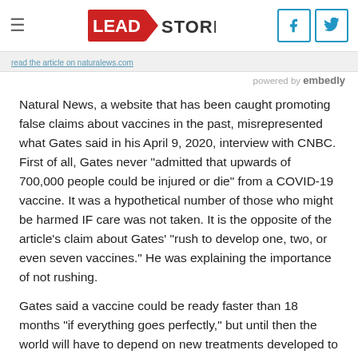Lead Stories
read the article on naturalews.com
powered by embedly
Natural News, a website that has been caught promoting false claims about vaccines in the past, misrepresented what Gates said in his April 9, 2020, interview with CNBC. First of all, Gates never "admitted that upwards of 700,000 people could be injured or die" from a COVID-19 vaccine. It was a hypothetical number of those who might be harmed IF care was not taken. It is the opposite of the article's claim about Gates' "rush to develop one, two, or even seven vaccines." He was explaining the importance of not rushing.
Gates said a vaccine could be ready faster than 18 months "if everything goes perfectly," but until then the world will have to depend on new treatments developed to deal with COVID-19.
The article falsely claimed that Gates said that for a vaccine to